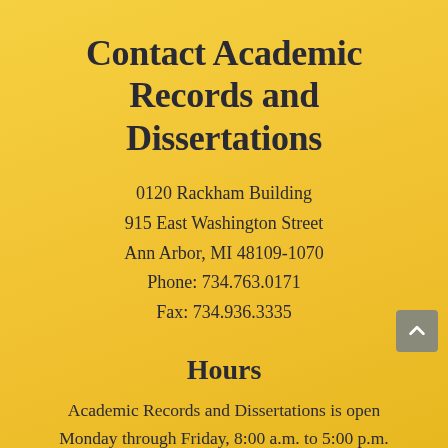Contact Academic Records and Dissertations
0120 Rackham Building
915 East Washington Street
Ann Arbor, MI 48109-1070
Phone: 734.763.0171
Fax: 734.936.3335
Hours
Academic Records and Dissertations is open Monday through Friday, 8:00 a.m. to 5:00 p.m.
The office is closed Saturdays and Sundays and on